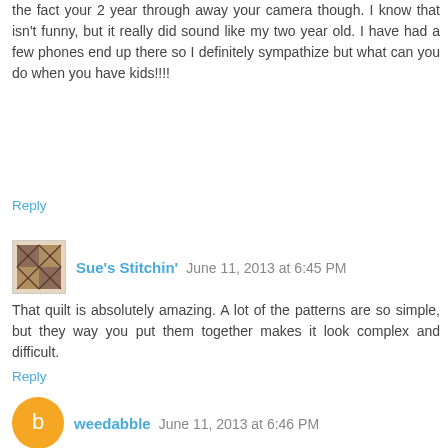the fact your 2 year through away your camera though. I know that isn't funny, but it really did sound like my two year old. I have had a few phones end up there so I definitely sympathize but what can you do when you have kids!!!!
Reply
Sue's Stitchin'  June 11, 2013 at 6:45 PM
That quilt is absolutely amazing. A lot of the patterns are so simple, but they way you put them together makes it look complex and difficult.
Reply
weedabble  June 11, 2013 at 6:46 PM
Judy, I love this quilt...too bad Helen didn't make two, and give you one as your payment...it would be the perfect quilt for you!
I love how humble you always are...you are probably one of the best quilters around, and you always make it about the